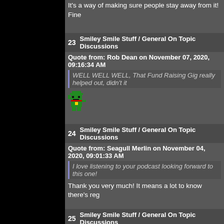It's a way of making sure people stay away from it! Fine
23   Smiley Smile Stuff / General On Topic Discussions
Quote from: Rob Dean on November 07, 2020, 09:16:34 AM
WELL WELL WELL, That Fund Raising Gig really helped out, didn't it
[Figure (illustration): Pixel art character with green hat, waving]
24   Smiley Smile Stuff / General On Topic Discussions
Quote from: Seagull Merlin on November 04, 2020, 09:01:33 AM
I love listening to your podcast looking forward to this one!
Thank you very much! It means a lot to know there's reg
25   Smiley Smile Stuff / General On Topic Discussions
Hello Friends, and welcome back. After many requests thanks to the help of many a user on the internet, we fin difference, playing the mono and the stereo mixes so yo
You can find the show on all good podcast platforms se